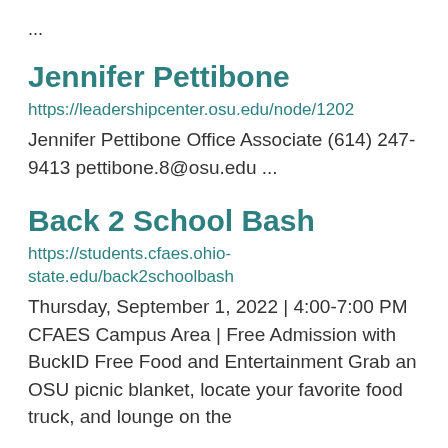...
Jennifer Pettibone
https://leadershipcenter.osu.edu/node/1202
Jennifer Pettibone Office Associate (614) 247-9413 pettibone.8@osu.edu ...
Back 2 School Bash
https://students.cfaes.ohio-state.edu/back2schoolbash
Thursday, September 1, 2022 | 4:00-7:00 PM CFAES Campus Area | Free Admission with BuckID Free Food and Entertainment Grab an OSU picnic blanket, locate your favorite food truck, and lounge on the